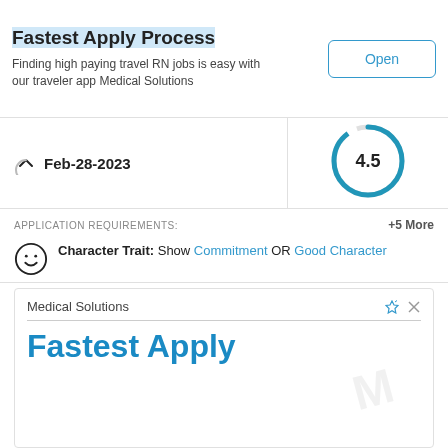[Figure (screenshot): Top advertisement banner for Medical Solutions with 'Fastest Apply Process' heading and Open button]
Feb-28-2023
[Figure (donut-chart): Rating]
APPLICATION REQUIREMENTS:
+5 More
Character Trait: Show Commitment OR Good Character
Organization: Experimental Aircraft Association (Professional Organization)
Residence: Live in Johnson, IN
[Figure (screenshot): Bottom advertisement banner for Medical Solutions with 'Fastest Apply' heading in blue]